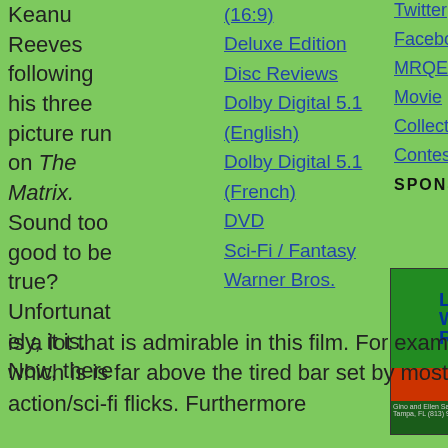Keanu Reeves following his three picture run on The Matrix. Sound too good to be true? Unfortunately, it is. Now, there is a lot that is admirable in this film. For example, the acting, which is is far above the tired bar set by most modern action/sci-fi flicks. Furthermore
(16:9)
Deluxe Edition
Disc Reviews
Dolby Digital 5.1 (English)
Dolby Digital 5.1 (French)
DVD
Sci-Fi / Fantasy
Warner Bros.
Twitter
Facebook
MRQE
Movie
Collectorz
Contestgirl
SPONSORS
[Figure (photo): Lost World Reptiles sponsor advertisement with green background and red/yellow sun graphic]